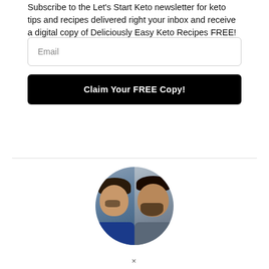Subscribe to the Let's Start Keto newsletter for keto tips and recipes delivered right your inbox and receive a digital copy of Deliciously Easy Keto Recipes FREE!
[Figure (screenshot): Email input field with placeholder text 'Email' and a black button labeled 'Claim Your FREE Copy!']
[Figure (photo): Circular before-and-after photo split down the middle showing two photos of the same man, one heavier on the left and one thinner on the right]